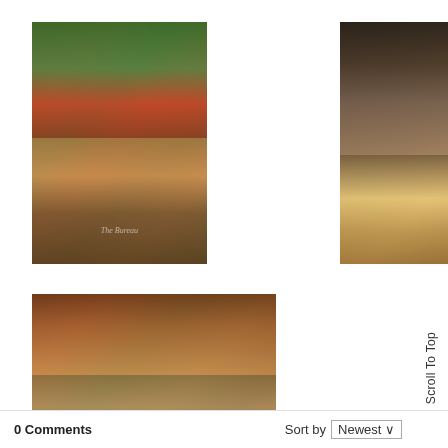[Figure (photo): Close-up photo of food in a bowl/dish, colorful ingredients, watermarked 'The Bureau']
[Figure (photo): Bar scene with glasses and drinks on a counter, colorful food dish visible, watermarked 'The Bureau']
[Figure (photo): Plate of food with meat and salad accompaniments, watermarked 'The Bureau']
[Figure (photo): Yellow/green bowl with food, side dishes visible, watermarked 'The Bureau']
Scroll To Top
0 Comments
Sort by Newest